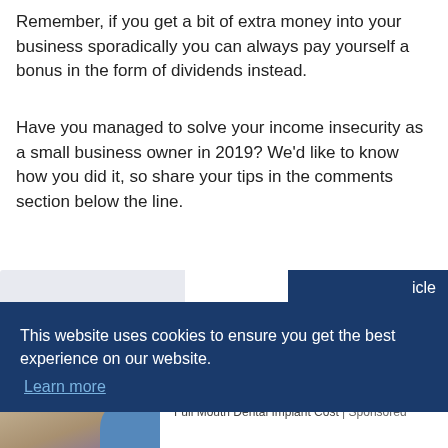Remember, if you get a bit of extra money into your business sporadically you can always pay yourself a bonus in the form of dividends instead.
Have you managed to solve your income insecurity as a small business owner in 2019? We'd like to know how you did it, so share your tips in the comments section below the line.
This website uses cookies to ensure you get the best experience on our website.
Learn more
Ashburn: Here is What Full Mouth Implants May Cost You! Full Mouth Dental Implant Cost | Sponsored